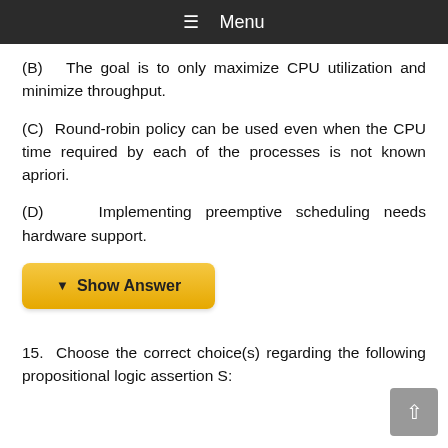≡ Menu
(B)  The goal is to only maximize CPU utilization and minimize throughput.
(C)  Round-robin policy can be used even when the CPU time required by each of the processes is not known apriori.
(D)  Implementing preemptive scheduling needs hardware support.
▼ Show Answer
15.  Choose the correct choice(s) regarding the following propositional logic assertion S: